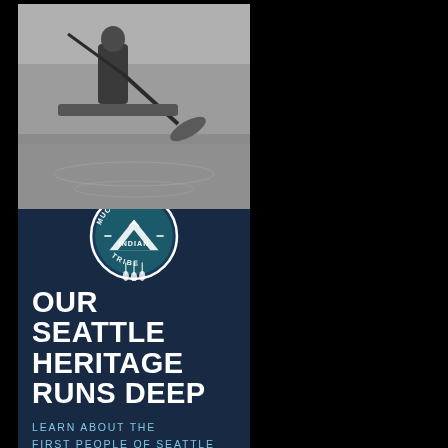[Figure (illustration): Advertisement for Muckleshoot Indian Tribe. Top half shows a black and white historical photo of a person fishing with a pole on water. Overlaid is the Muckleshoot Indian Tribe circular logo with mountains. Dark navy blue background with bold white text reading OUR SEATTLE HERITAGE RUNS DEEP. Light blue subheadline: LEARN ABOUT THE FIRST PEOPLE OF SEATTLE.]
[Figure (illustration): Advertisement for Seattle Restored. Dark background with rotated vertical text reading 'Seattle RESTORED' on the left side. Main text: Calling All Entrepreneurs, Artists, and Makers! Red bold subheadline: APPLICATIONS FOR PHASE 2 OF SEATTLE RESTORED ARE NOW OPEN]